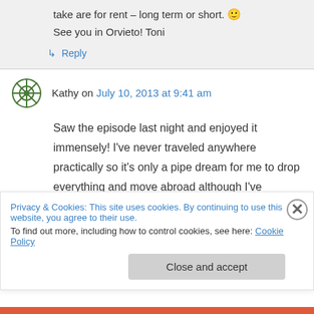take are for rent – long term or short. 🙂
See you in Orvieto! Toni
↳ Reply
Kathy on July 10, 2013 at 9:41 am
Saw the episode last night and enjoyed it immensely! I've never traveled anywhere practically so it's only a pipe dream for me to drop everything and move abroad although I've
Privacy & Cookies: This site uses cookies. By continuing to use this website, you agree to their use.
To find out more, including how to control cookies, see here: Cookie Policy
Close and accept